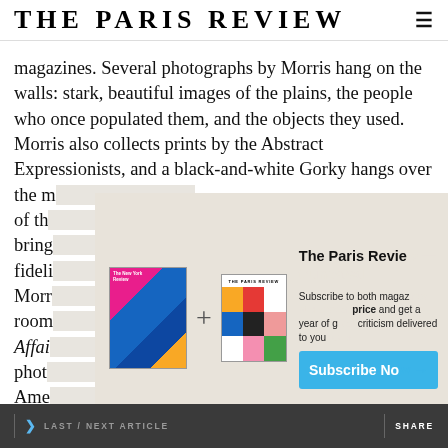THE PARIS REVIEW
magazines. Several photographs by Morris hang on the walls: stark, beautiful images of the plains, the people who once populated them, and the objects they used. Morris also collects prints by the Abstract Expressionists, and a black-and-white Gorky hangs over the m of th bring fideli Morr room Affai phot Ame photographs.
[Figure (infographic): Subscription promotional overlay showing The New York Review and The Paris Review magazine covers with a plus sign between them, alongside text 'The Paris Review — Subscribe to both magazines at a special price and get a year of great criticism delivered to your door' and a 'Subscribe Now' button]
LAST / NEXT ARTICLE   SHARE